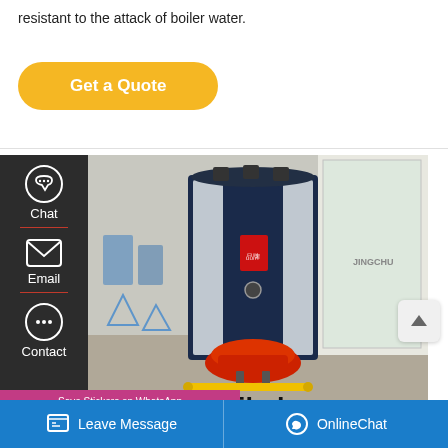resistant to the attack of boiler water.
Get a Quote
[Figure (photo): Industrial steam boiler with red burner at bottom, dark navy blue casing with silver panels, red brand logo, photographed in a warehouse/factory setting]
Klinger kijkglas -
Leave Message | OnlineChat